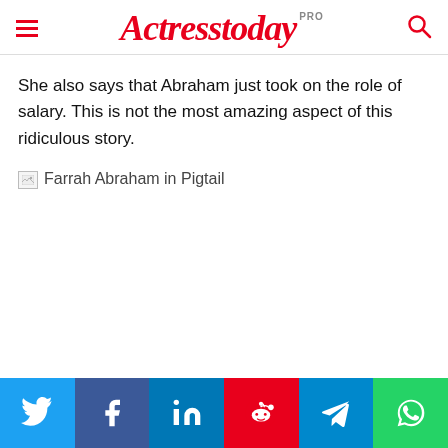Actresstoday PRO
She also says that Abraham just took on the role of salary. This is not the most amazing aspect of this ridiculous story.
[Figure (photo): Broken image placeholder with alt text: Farrah Abraham in Pigtail]
Farrah Abraham in Pigtail
Social share buttons: Twitter, Facebook, LinkedIn, Reddit, Telegram, WhatsApp